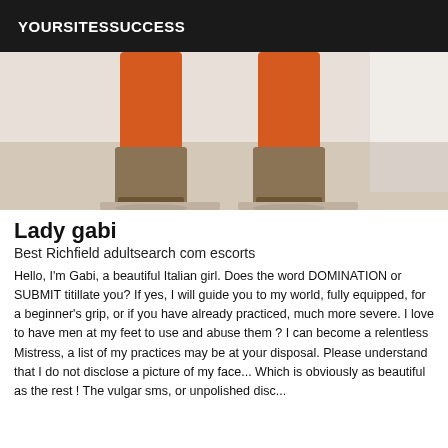YOURSITESSUCCESS
[Figure (photo): Cropped photo showing legs of a person wearing orange pants and high-heeled boots, standing on a light-colored floor.]
Lady gabi
Best Richfield adultsearch com escorts
Hello, I'm Gabi, a beautiful Italian girl. Does the word DOMINATION or SUBMIT titillate you? If yes, I will guide you to my world, fully equipped, for a beginner's grip, or if you have already practiced, much more severe. I love to have men at my feet to use and abuse them ? I can become a relentless Mistress, a list of my practices may be at your disposal. Please understand that I do not disclose a picture of my face... Which is obviously as beautiful as the rest ! The vulgar sms, or unpolished disc...